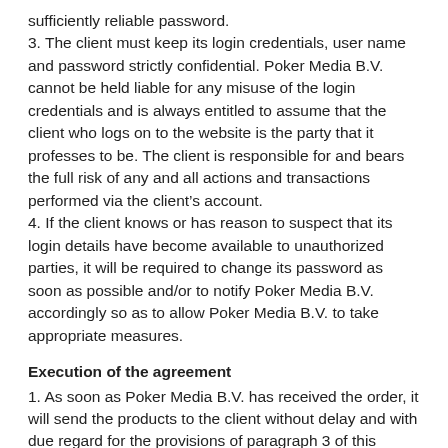sufficiently reliable password.
3. The client must keep its login credentials, user name and password strictly confidential. Poker Media B.V. cannot be held liable for any misuse of the login credentials and is always entitled to assume that the client who logs on to the website is the party that it professes to be. The client is responsible for and bears the full risk of any and all actions and transactions performed via the client's account.
4. If the client knows or has reason to suspect that its login details have become available to unauthorized parties, it will be required to change its password as soon as possible and/or to notify Poker Media B.V. accordingly so as to allow Poker Media B.V. to take appropriate measures.
Execution of the agreement
1. As soon as Poker Media B.V. has received the order, it will send the products to the client without delay and with due regard for the provisions of paragraph 3 of this article.
2. Poker Media B.V. is authorized to engage third parties in the fulfillment of its obligations under the agreement.
3. In principle, the delivery term is 4 weeks. Delivery may be effected in various ways, at the discretion of Poker Media B.V..
4. If Poker Media B.V. is unable to deliver the products within the